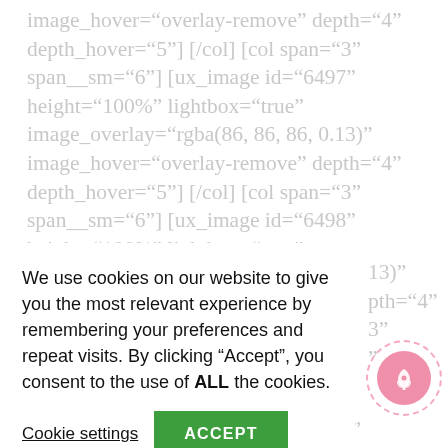image_hover="overlay-remove" depth="4" depth_hover="5"] [/col] [col span="3" span__sm="6"] [ux_image id="6497" height="100%" lightbox="true" image_overlay="rgba(86, 86, 86, 0.13)" image_hover="overlay-remove" depth="4" depth_hover="5"] [/col] [col span="3" span__sm="6"] [ux_image id="6498" height="100%" lightbox="true"
We use cookies on our website to give you the most relevant experience by remembering your preferences and repeat visits. By clicking "Accept", you consent to the use of ALL the cookies.
Cookie settings
ACCEPT
13)" pth="4" 3" "
13)" pth="4"
depth_hover="5"] [/col] [col span="3"